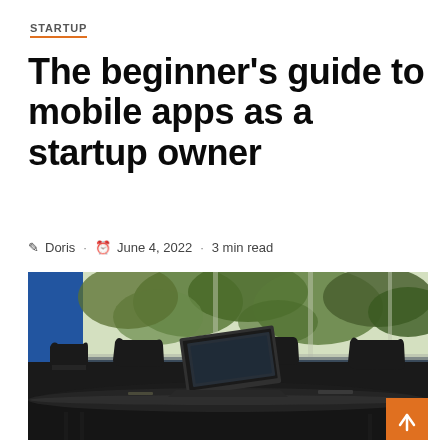STARTUP
The beginner’s guide to mobile apps as a startup owner
✎ Doris · ⏰ June 4, 2022 · 3 min read
[Figure (photo): Conference room with a long dark table, several black leather office chairs, an open laptop, and large windows showing trees outside. An orange back-to-top arrow button is visible in the bottom-right corner of the image.]